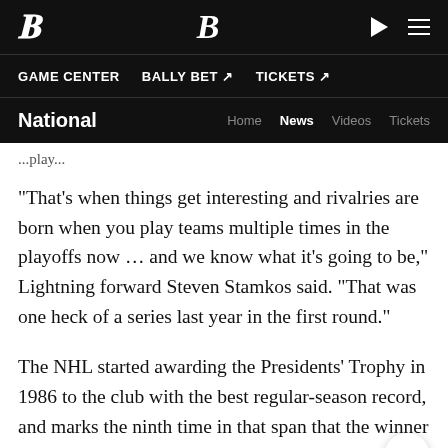B (logo) | play | menu
GAME CENTER   BALLY BET ↗   TICKETS ↗
National   Home   News   Videos   Tickets
...play...
"That's when things get interesting and rivalries are born when you play teams multiple times in the playoffs now ... and we know what it's going to be," Lightning forward Steven Stamkos said. "That was one heck of a series last year in the first round."
The NHL started awarding the Presidents' Trophy in 1986 to the club with the best regular-season record, and marks the ninth time in that span that the winner of that